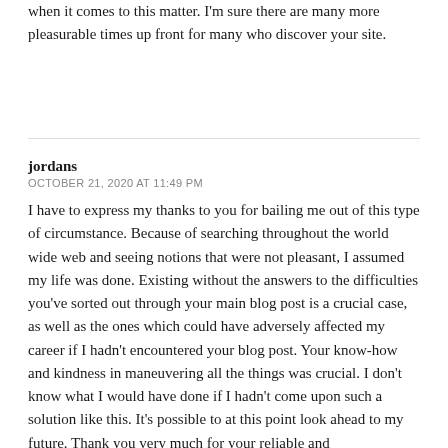when it comes to this matter. I'm sure there are many more pleasurable times up front for many who discover your site.
jordans
OCTOBER 21, 2020 AT 11:49 PM
I have to express my thanks to you for bailing me out of this type of circumstance. Because of searching throughout the world wide web and seeing notions that were not pleasant, I assumed my life was done. Existing without the answers to the difficulties you've sorted out through your main blog post is a crucial case, as well as the ones which could have adversely affected my career if I hadn't encountered your blog post. Your know-how and kindness in maneuvering all the things was crucial. I don't know what I would have done if I hadn't come upon such a solution like this. It's possible to at this point look ahead to my future. Thank you very much for your reliable and